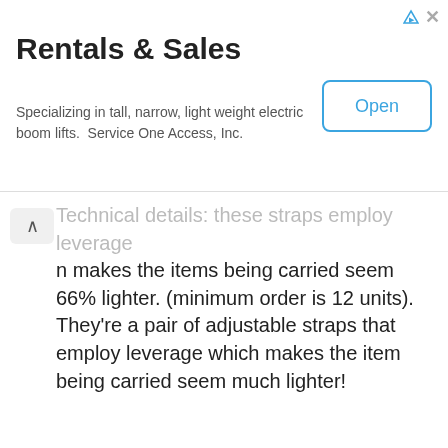[Figure (screenshot): Advertisement banner for Rentals & Sales. Title: 'Rentals & Sales'. Subtitle: 'Specializing in tall, narrow, light weight electric boom lifts. Service One Access, Inc.' With an 'Open' button on the right.]
Technical details: these straps employ leverage which makes the items being carried seem 66% lighter. (minimum order is 12 units). They're a pair of adjustable straps that employ leverage which makes the item being carried seem much lighter!